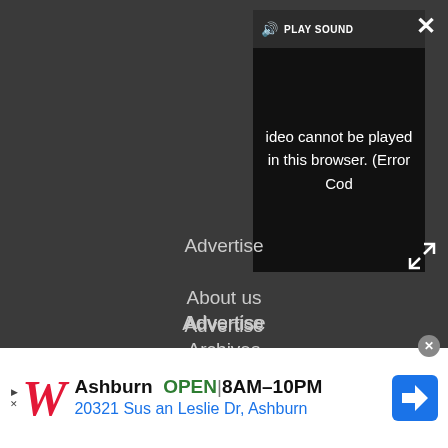[Figure (screenshot): Video player showing error message: 'Video cannot be played in this browser. (Error Cod' with PLAY SOUND label and speaker icon at top]
×
⤡
Advertise
About us
Archives
Careers
Do not sell my info
[Figure (screenshot): Walgreens advertisement banner: Ashburn OPEN 8AM-10PM, 20321 Susan Leslie Dr, Ashburn, with Walgreens W logo and navigation arrow icon]